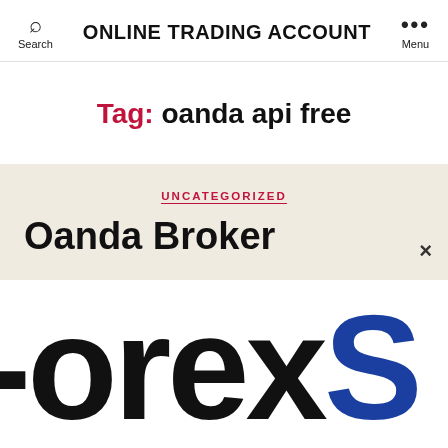ONLINE TRADING ACCOUNT
Tag: oanda api free
UNCATEGORIZED
Oanda Broker
[Figure (logo): Partial large text showing 'ForexS' — cropped logo/brand image in black and blue]
×